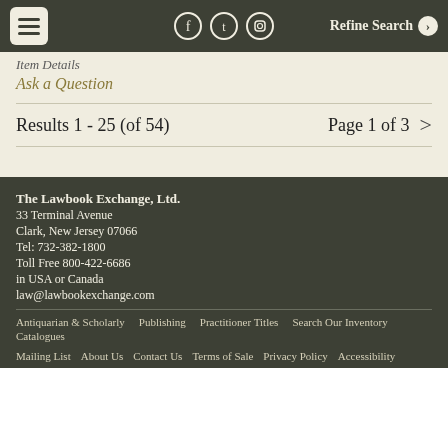Refine Search
Item Details
Ask a Question
Results 1 - 25 (of 54)
Page 1 of 3 >
The Lawbook Exchange, Ltd. 33 Terminal Avenue Clark, New Jersey 07066 Tel: 732-382-1800 Toll Free 800-422-6686 in USA or Canada law@lawbookexchange.com
Antiquarian & Scholarly | Publishing | Practitioner Titles | Search Our Inventory | Catalogues
Mailing List | About Us | Contact Us | Terms of Sale | Privacy Policy | Accessibility